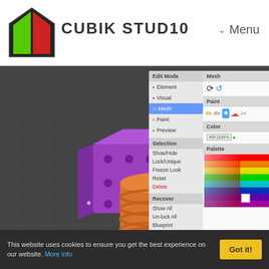CUBIK STUDIO — Menu
[Figure (screenshot): Cubik Studio 3D editor interface showing a purple dice cube, blue planet sphere, orange cylinder stack, and green pyramid on a dark grid background, with an Edit Mode panel on the right showing mesh, paint, color and palette tools]
Get Cubik Studio ⬇
This website uses cookies to ensure you get the best experience on our website. More info
Got it!